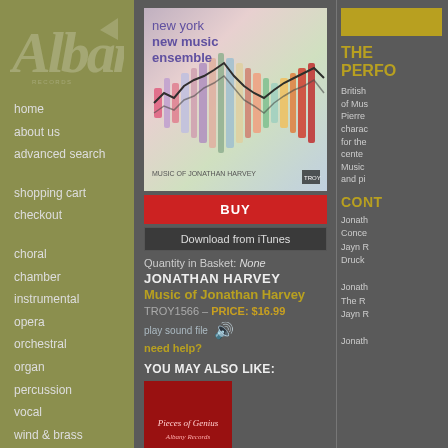[Figure (logo): Albany Records logo in faded white/transparent on olive green sidebar]
home
about us
advanced search
shopping cart
checkout
choral
chamber
instrumental
opera
orchestral
organ
percussion
vocal
wind & brass
wind ensemble
new releases
best sellers
podcasts
[Figure (illustration): New York New Music Ensemble album cover - Music of Jonathan Harvey, colorful waveform graphic]
BUY
Download from iTunes
Quantity in Basket: None
JONATHAN HARVEY
Music of Jonathan Harvey
TROY1566 - PRICE: $16.99
play sound file
need help?
YOU MAY ALSO LIKE:
[Figure (illustration): Small album thumbnail - red background with cursive text]
THE PERF
British of Mus Pierre charac for the cente Music and pi
CONT
Jonath Conce Jayn R Druck Jonath The R Jayn R Jonath